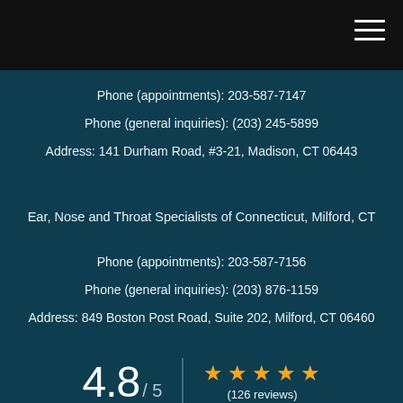Phone (appointments): 203-587-7147
Phone (general inquiries): (203) 245-5899
Address: 141 Durham Road, #3-21, Madison, CT 06443
Ear, Nose and Throat Specialists of Connecticut, Milford, CT
Phone (appointments): 203-587-7156
Phone (general inquiries): (203) 876-1159
Address: 849 Boston Post Road, Suite 202, Milford, CT 06460
4.8 / 5  ★★★★★ (126 reviews)